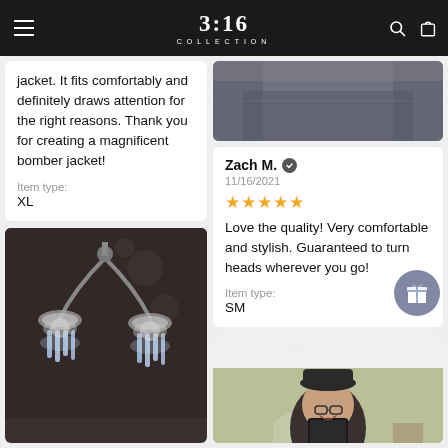3:16 COLLECTION
jacket. It fits comfortably and definitely draws attention for the right reasons. Thank you for creating a magnificent bomber jacket!

Item type:
XL
[Figure (photo): Photo of a decorative chandelier with crystal pendants against a dark background]
[Figure (photo): Partial photo at top of right column showing person in jacket]
Zach M. ✓
11/16/2021
★★★★★
Love the quality! Very comfortable and stylish. Guaranteed to turn heads wherever you go!

Item type:
SM
[Figure (photo): Person taking selfie in mirror wearing black hat and glasses, in a room with green walls]